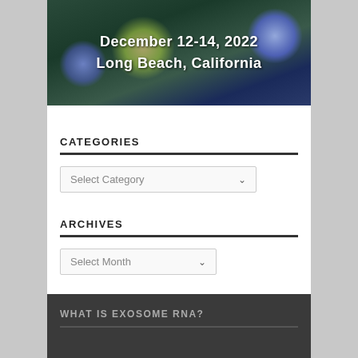[Figure (illustration): Conference banner image with biological cell imagery in dark green/blue tones. Text overlay reads 'December 12-14, 2022' and 'Long Beach, California' in white bold font.]
CATEGORIES
Select Category
ARCHIVES
Select Month
WHAT IS EXOSOME RNA?